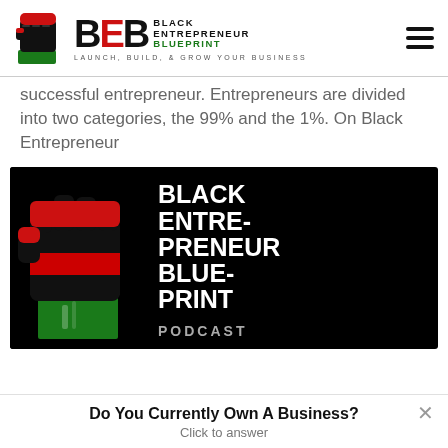[Figure (logo): Black Entrepreneur Blueprint logo: raised fist icon with BEB text, tagline 'LAUNCH, BUILD, & GROW YOUR BUSINESS']
successful entrepreneur. Entrepreneurs are divided into two categories, the 99% and the 1%. On Black Entrepreneur
[Figure (logo): Black Entrepreneur Blueprint Podcast banner: black background with raised fist (red/black/green) and white bold text reading BLACK ENTREPRENEUR BLUEPRINT PODCAST]
Do You Currently Own A Business?
Click to answer